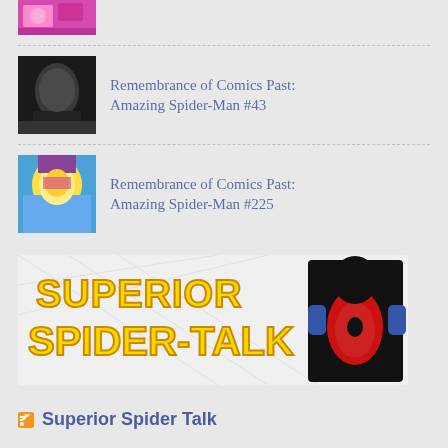[Figure (photo): Partial thumbnail image at top, cropped comic book cover]
Remembrance of Comics Past: Amazing Spider-Man #43
Remembrance of Comics Past: Amazing Spider-Man #225
[Figure (illustration): Superior Spider-Talk banner with yellow text and Spider-Man figure opening shirt]
Superior Spider Talk
Best 80 Ways to Learn Easily How to Say Thank You in Spanish
August 25, 2022